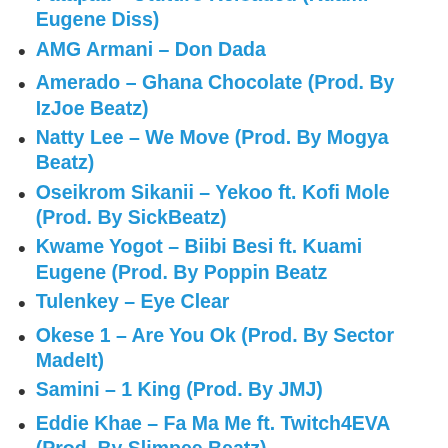Patapaa – Otuturo Reloaded (Kuami Eugene Diss)
AMG Armani – Don Dada
Amerado – Ghana Chocolate (Prod. By IzJoe Beatz)
Natty Lee – We Move (Prod. By Mogya Beatz)
Oseikrom Sikanii – Yekoo ft. Kofi Mole (Prod. By SickBeatz)
Kwame Yogot – Biibi Besi ft. Kuami Eugene (Prod. By Poppin Beatz
Tulenkey – Eye Clear
Okese 1 – Are You Ok (Prod. By Sector MadeIt)
Samini – 1 King (Prod. By JMJ)
Eddie Khae – Fa Ma Me ft. Twitch4EVA (Prod. By Slimpee Beatz)
DopeNation – What A God ft. Adelaide The Seer